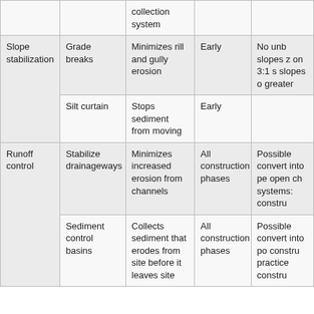|  |  | collection system |  |  |
| Slope stabilization | Grade breaks | Minimizes rill and gully erosion | Early | No unb slopes z on 3:1 s slopes o greater |
|  | Silt curtain | Stops sediment from moving | Early |  |
| Runoff control | Stabilize drainageways | Minimizes increased erosion from channels | All construction phases | Possible convert into pe open ch systems: constru |
|  | Sediment control basins | Collects sediment that erodes from site before it leaves site | All construction phases | Possible convert into po constru practice constru |